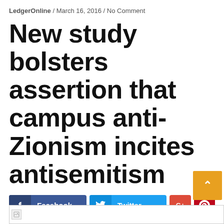LedgerOnline / March 16, 2016 / No Comment
New study bolsters assertion that campus anti-Zionism incites antisemitism
[Figure (other): Social sharing buttons: Facebook, Twitter, Google+, Pinterest, LinkedIn, Tumblr, Reddit, and a scroll-to-top button with a broken image placeholder at the bottom.]